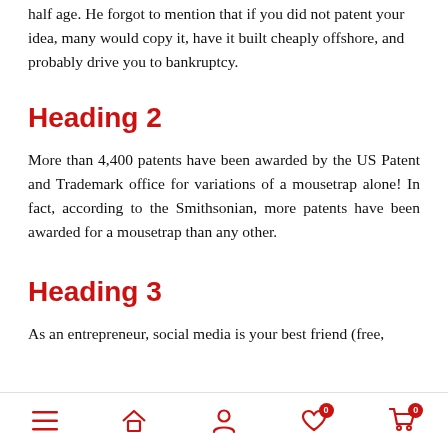half age. He forgot to mention that if you did not patent your idea, many would copy it, have it built cheaply offshore, and probably drive you to bankruptcy.
Heading 2
More than 4,400 patents have been awarded by the US Patent and Trademark office for variations of a mousetrap alone! In fact, according to the Smithsonian, more patents have been awarded for a mousetrap than any other.
Heading 3
As an entrepreneur, social media is your best friend (free,
Navigation bar with menu, home, user, wishlist (0), cart (0)